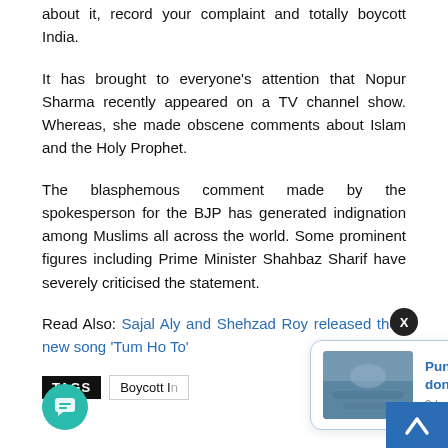about it, record your complaint and totally boycott India.
It has brought to everyone's attention that Nopur Sharma recently appeared on a TV channel show. Whereas, she made obscene comments about Islam and the Holy Prophet.
The blasphemous comment made by the spokesperson for the BJP has generated indignation among Muslims all across the world. Some prominent figures including Prime Minister Shahbaz Sharif have severely criticised the statement.
Read Also: Sajal Aly and Shehzad Roy released their new song 'Tum Ho To'
TAGS  Boycott I...
[Figure (screenshot): Notification popup showing a news thumbnail of flooded area with text 'Punjab Govt launches flood relief donations website' and '3 hours ago']